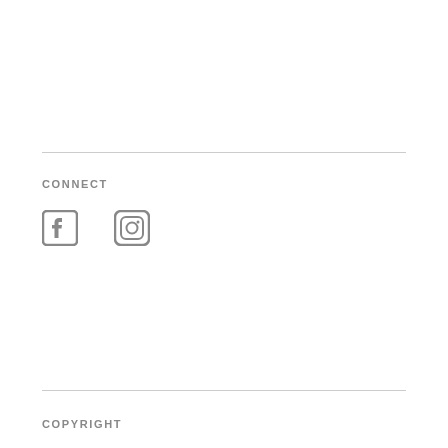CONNECT
[Figure (illustration): Two social media icons: Facebook icon and Instagram icon, rendered in gray]
COPYRIGHT